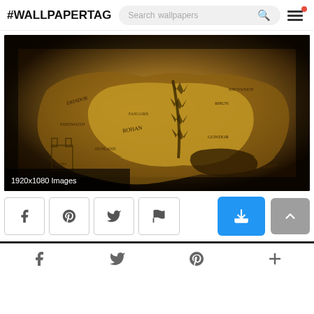#WALLPAPERTAG
[Figure (screenshot): A fantasy map wallpaper resembling Middle Earth, with aged parchment look, dark brown tones, showing geographical features and place names. Labeled '1920x1080 Images' in bottom left.]
1920x1080 Images
[Figure (infographic): Action buttons row: Facebook, Pinterest, Twitter, Flag icons as outlined square buttons, then a blue download button and grey back-to-top button on the right.]
f  Twitter  P  +